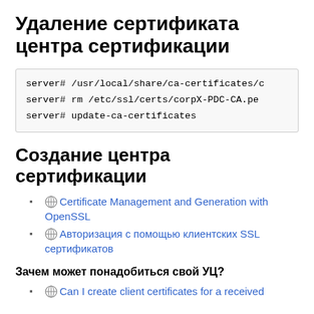Удаление сертификата центра сертификации
server# /usr/local/share/ca-certificates/c
server# rm /etc/ssl/certs/corpX-PDC-CA.pe
server# update-ca-certificates
Создание центра сертификации
Certificate Management and Generation with OpenSSL
Авторизация с помощью клиентских SSL сертификатов
Зачем может понадобиться свой УЦ?
Can I create client certificates for a received